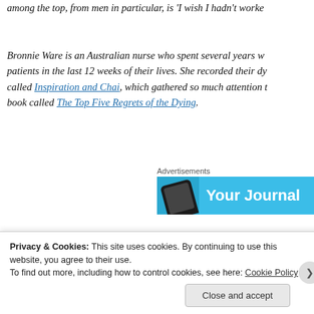among the top, from men in particular, is 'I wish I hadn't worke...
Bronnie Ware is an Australian nurse who spent several years wo... patients in the last 12 weeks of their lives. She recorded their dy... called Inspiration and Chai, which gathered so much attention t... book called The Top Five Regrets of the Dying.
[Figure (other): Advertisement banner with 'Your Journal' text on a blue background with a device graphic]
Ware writes of the phenomenal clarity of vision that people gain... we might learn from their wisdom. "When questioned about any... would do differently," she says, "common themes surfaced agai...
Privacy & Cookies: This site uses cookies. By continuing to use this website, you agree to their use.
To find out more, including how to control cookies, see here: Cookie Policy